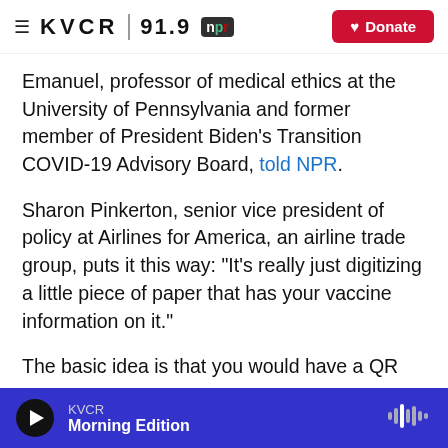KVCR 91.9 NPR | Donate
Emanuel, professor of medical ethics at the University of Pennsylvania and former member of President Biden's Transition COVID-19 Advisory Board, told NPR.
Sharon Pinkerton, senior vice president of policy at Airlines for America, an airline trade group, puts it this way: "It's really just digitizing a little piece of paper that has your vaccine information on it."
The basic idea is that you would have a QR code, likely stored in a digital wallet, that indicates your vaccination status. State health departments,
KVCR | Morning Edition